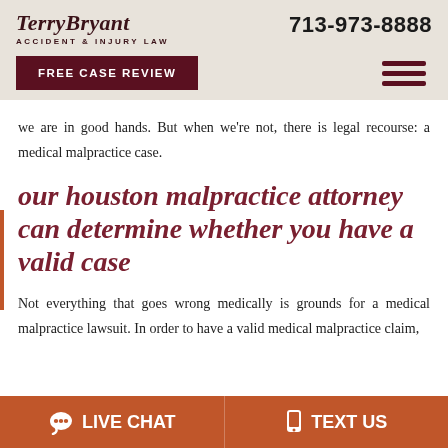TerryBryant ACCIDENT & INJURY LAW | 713-973-8888 | FREE CASE REVIEW
we are in good hands. But when we're not, there is legal recourse: a medical malpractice case.
our houston malpractice attorney can determine whether you have a valid case
Not everything that goes wrong medically is grounds for a medical malpractice lawsuit. In order to have a valid medical malpractice claim,
LIVE CHAT | TEXT US